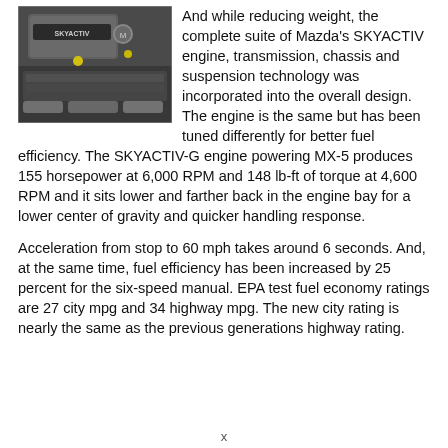[Figure (photo): Close-up photograph of a Mazda SKYACTIV engine in an engine bay, showing the engine cover with SKYACTIV branding and Mazda logo.]
And while reducing weight, the complete suite of Mazda's SKYACTIV engine, transmission, chassis and suspension technology was incorporated into the overall design. The engine is the same but has been tuned differently for better fuel efficiency. The SKYACTIV-G engine powering MX-5 produces 155 horsepower at 6,000 RPM and 148 lb-ft of torque at 4,600 RPM and it sits lower and farther back in the engine bay for a lower center of gravity and quicker handling response.
Acceleration from stop to 60 mph takes around 6 seconds. And, at the same time, fuel efficiency has been increased by 25 percent for the six-speed manual. EPA test fuel economy ratings are 27 city mpg and 34 highway mpg. The new city rating is nearly the same as the previous generations highway rating.
x